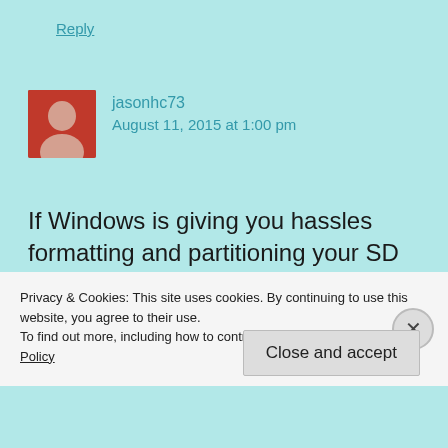Reply
jasonhc73
August 11, 2015 at 1:00 pm
If Windows is giving you hassles formatting and partitioning your SD card just use MiniTool Partition Wizard. I have a tiny little Dell Mini 9, and windows 10 just got shoe horned into it. With just
Privacy & Cookies: This site uses cookies. By continuing to use this website, you agree to their use.
To find out more, including how to control cookies, see here: Cookie Policy
Close and accept